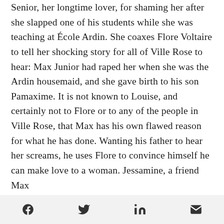Senior, her longtime lover, for shaming her after she slapped one of his students while she was teaching at École Ardin. She coaxes Flore Voltaire to tell her shocking story for all of Ville Rose to hear: Max Junior had raped her when she was the Ardin housemaid, and she gave birth to his son Pamaxime. It is not known to Louise, and certainly not to Flore or to any of the people in Ville Rose, that Max has his own flawed reason for what he has done. Wanting his father to hear her screams, he uses Flore to convince himself he can make love to a woman. Jessamine, a friend Max
Social share icons: Facebook, Twitter, LinkedIn, Email